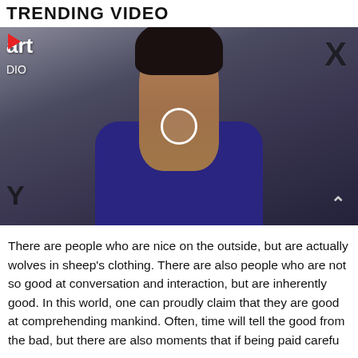TRENDING VIDEO
[Figure (photo): A woman with short dark hair wearing a blue velvet blazer and necklace, posing against a backdrop with logos. A circular play button ring overlay is visible on the image. Partial text logos visible: 'art', 'DIO', 'X', 'Y'. A chevron-up icon is in the bottom right corner.]
There are people who are nice on the outside, but are actually wolves in sheep’s clothing. There are also people who are not so good at conversation and interaction, but are inherently good. In this world, one can proudly claim that they are good at comprehending mankind. Often, time will tell the good from the bad, but there are also moments that if being paid carefu